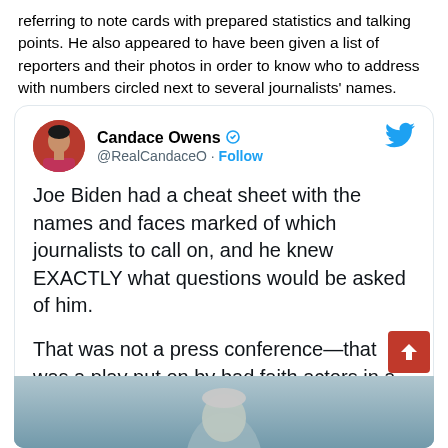referring to note cards with prepared statistics and talking points. He also appeared to have been given a list of reporters and their photos in order to know who to address with numbers circled next to several journalists' names.
[Figure (screenshot): Tweet by Candace Owens (@RealCandaceO) with verified badge and Follow button. Tweet text: 'Joe Biden had a cheat sheet with the names and faces marked of which journalists to call on, and he knew EXACTLY what questions would be asked of him. That was not a press conference—that was a play put on by bad faith actors in a pseudo-democracy.' Below the tweet is a partially visible photo.]